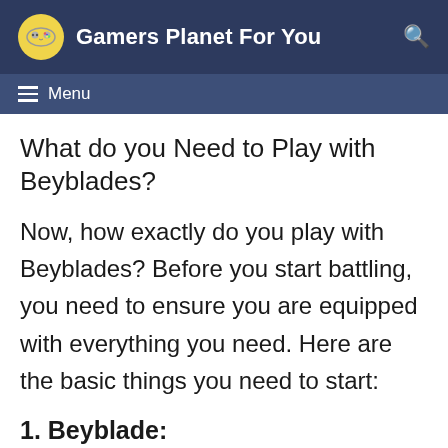Gamers Planet For You
What do you Need to Play with Beyblades?
Now, how exactly do you play with Beyblades? Before you start battling, you need to ensure you are equipped with everything you need. Here are the basic things you need to start:
1. Beyblade: